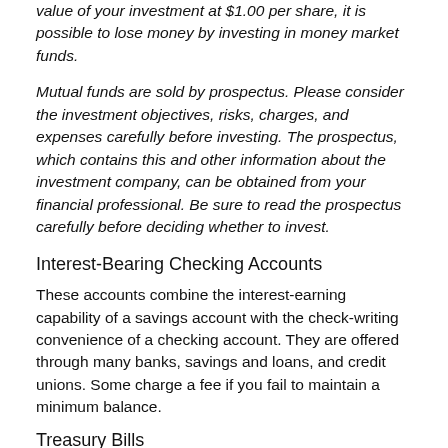value of your investment at $1.00 per share, it is possible to lose money by investing in money market funds.
Mutual funds are sold by prospectus. Please consider the investment objectives, risks, charges, and expenses carefully before investing. The prospectus, which contains this and other information about the investment company, can be obtained from your financial professional. Be sure to read the prospectus carefully before deciding whether to invest.
Interest-Bearing Checking Accounts
These accounts combine the interest-earning capability of a savings account with the check-writing convenience of a checking account. They are offered through many banks, savings and loans, and credit unions. Some charge a fee if you fail to maintain a minimum balance.
Treasury Bills